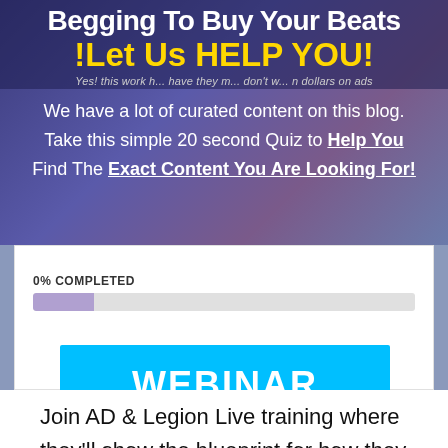Begging To Buy Your Beats !Let Us HELP YOU!
Yes! this work ... have they ... don't w... dollars on ads
We have a lot of curated content on this blog. Take this simple 20 second Quiz to Help You Find The Exact Content You Are Looking For!
[Figure (screenshot): Progress bar showing 0% COMPLETED with a partially filled purple bar]
[Figure (infographic): Blue button labeled WEBINAR]
Join AD & Legion Live training where they'll show the blueprint for how they sold over a Million dollars of beats